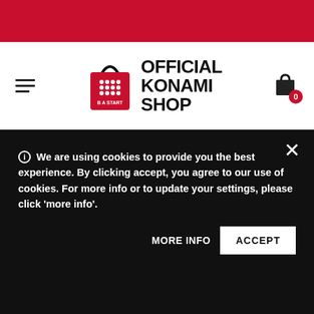[Figure (screenshot): Red top navigation bar of the Official Konami Shop website]
[Figure (logo): Official Konami Shop logo — red shopping bag with white dots and text, beside bold text reading OFFICIAL KONAMI SHOP]
Home / Greetings From Silent Hill Mug
ⓘ We are using cookies to provide you the best experience. By clicking accept, you agree to our use of cookies. For more info or to update your settings, please click 'more info'.
MORE INFO
ACCEPT